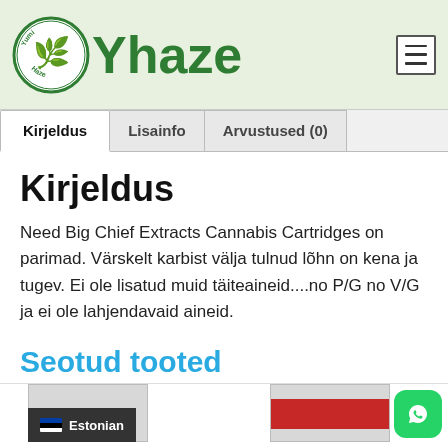Yhaze
Kirjeldus	Lisainfo	Arvustused (0)
Kirjeldus
Need Big Chief Extracts Cannabis Cartridges on parimad. Värskelt karbist välja tulnud lõhn on kena ja tugev. Ei ole lisatud muid täiteaineid....no P/G no V/G ja ei ole lahjendavaid aineid.
Seotud tooted
[Figure (screenshot): Bottom product thumbnails row with Estonian language selector and WhatsApp button]